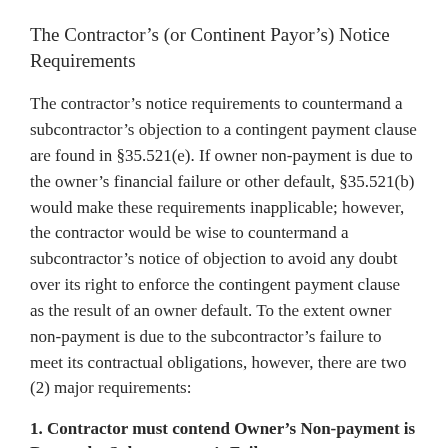The Contractor's (or Continent Payor's) Notice Requirements
The contractor's notice requirements to countermand a subcontractor's objection to a contingent payment clause are found in §35.521(e). If owner non-payment is due to the owner's financial failure or other default, §35.521(b) would make these requirements inapplicable; however, the contractor would be wise to countermand a subcontractor's notice of objection to avoid any doubt over its right to enforce the contingent payment clause as the result of an owner default. To the extent owner non-payment is due to the subcontractor's failure to meet its contractual obligations, however, there are two (2) major requirements:
1. Contractor must contend Owner's Non-payment is Due to the Subcontractor's Failure